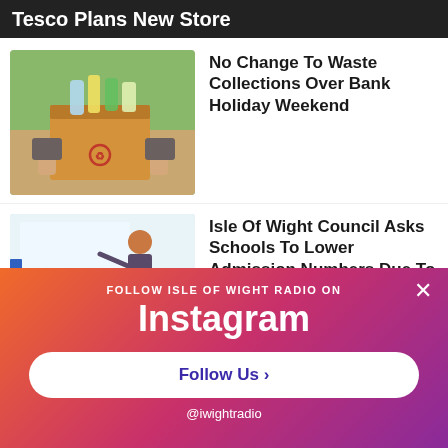Tesco Plans New Store
[Figure (photo): Person holding a cardboard box filled with recyclable items including plastic bottles]
No Change To Waste Collections Over Bank Holiday Weekend
[Figure (photo): Teacher standing at front of classroom with young school children seated in white uniforms]
Isle Of Wight Council Asks Schools To Lower Admission Numbers Due To Lack Of Pupils
FOLLOW ISLE OF WIGHT RADIO ON
Instagram
Follow Us ›
@iwightradio